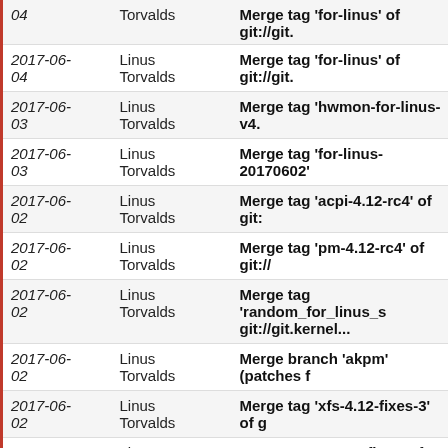| Date | Author | Message |
| --- | --- | --- |
| 04 | Torvalds | Merge tag 'for-linus' of git://git... |
| 2017-06-04 | Linus Torvalds | Merge tag 'for-linus' of git://git. |
| 2017-06-03 | Linus Torvalds | Merge tag 'hwmon-for-linus-v4. |
| 2017-06-03 | Linus Torvalds | Merge tag 'for-linus-20170602' |
| 2017-06-02 | Linus Torvalds | Merge tag 'acpi-4.12-rc4' of git: |
| 2017-06-02 | Linus Torvalds | Merge tag 'pm-4.12-rc4' of git:// |
| 2017-06-02 | Linus Torvalds | Merge tag 'random_for_linus_s git://git.kernel... |
| 2017-06-02 | Linus Torvalds | Merge branch 'akpm' (patches f |
| 2017-06-02 | Linus Torvalds | Merge tag 'xfs-4.12-fixes-3' of g |
| 2017-06-02 | Linus Torvalds | Merge tag 'arm64-fixes' of git:// |
| 2017-06-02 | Linus Torvalds | Merge tag 'ceph-for-4.12-rc4' of |
| 2017-06- | Linus | Merge tag 'for-4.12/dm-fixes-3' |